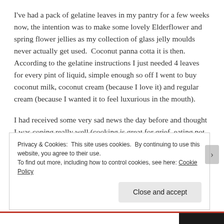I've had a pack of gelatine leaves in my pantry for a few weeks now, the intention was to make some lovely Elderflower and spring flower jellies as my collection of glass jelly moulds never actually get used.  Coconut panna cotta it is then.  According to the gelatine instructions I just needed 4 leaves for every pint of liquid, simple enough so off I went to buy coconut milk, coconut cream (because I love it) and regular cream (because I wanted it to feel luxurious in the mouth).
I had received some very sad news the day before and thought I was coping really well (cooking is great for grief, eating not so easy) but I found myself crying in Tescos
Privacy & Cookies: This site uses cookies.  By continuing to use this website, you agree to their use.
To find out more, including how to control cookies, see here: Cookie Policy
Close and accept